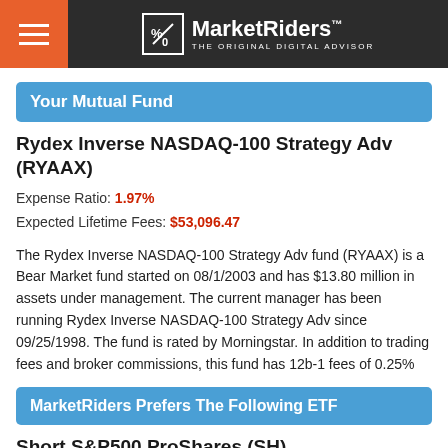MarketRiders THE ORIGINAL DIGITAL ADVISOR
Your Mutual Fund
Rydex Inverse NASDAQ-100 Strategy Adv (RYAAX)
Expense Ratio: 1.97%
Expected Lifetime Fees: $53,096.47
The Rydex Inverse NASDAQ-100 Strategy Adv fund (RYAAX) is a Bear Market fund started on 08/1/2003 and has $13.80 million in assets under management. The current manager has been running Rydex Inverse NASDAQ-100 Strategy Adv since 09/25/1998. The fund is rated by Morningstar. In addition to trading fees and broker commissions, this fund has 12b-1 fees of 0.25%
MarketRiders Prefers The Following ETF
Short S&P500 ProShares (SH)